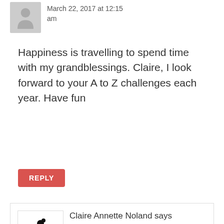March 22, 2017 at 12:15 am
Happiness is travelling to spend time with my grandblessings. Claire, I look forward to your A to Z challenges each year. Have fun
REPLY
Claire Annette Noland says
AUTHOR
March 24, 2017 at 5:08 pm